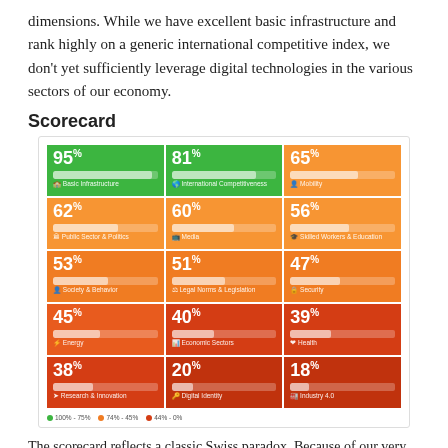dimensions. While we have excellent basic infrastructure and rank highly on a generic international competitive index, we don't yet sufficiently leverage digital technologies in the various sectors of our economy.
Scorecard
[Figure (infographic): Scorecard grid showing digital readiness scores by sector. 3x5 color-coded grid: Basic Infrastructure 95%, International Competitiveness 81%, Mobility 65%, Public Sector & Politics 62%, Media 60%, Skilled Workers & Education 56%, Society & Behavior 53%, Legal Norms & Legislation 51%, Security 47%, Energy 45%, Economic Sectors 40%, Health 39%, Research & Innovation 38%, Digital Identity 20%, Industry 4.0 18%. Legend: green=100%-75%, orange=74%-45%, red=44%-0%.]
The scorecard reflects a classic Swiss paradox. Because of our very direct democratic system, built on subsidiarity, we provide good infrastructure and general economic